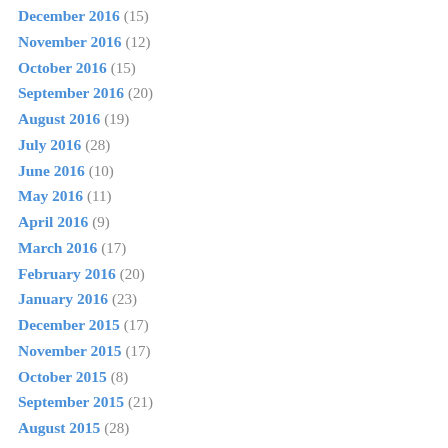December 2016 (15)
November 2016 (12)
October 2016 (15)
September 2016 (20)
August 2016 (19)
July 2016 (28)
June 2016 (10)
May 2016 (11)
April 2016 (9)
March 2016 (17)
February 2016 (20)
January 2016 (23)
December 2015 (17)
November 2015 (17)
October 2015 (8)
September 2015 (21)
August 2015 (28)
July 2015 (23)
June 2015 (13)
May 2015 (22)